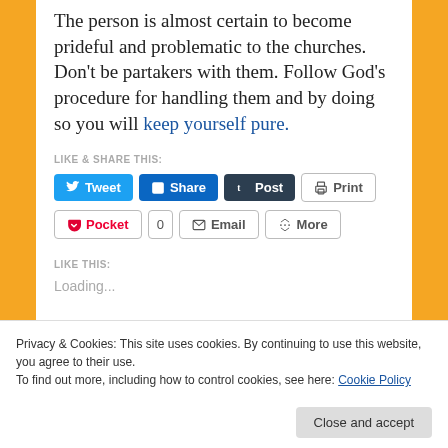The person is almost certain to become prideful and problematic to the churches. Don't be partakers with them. Follow God's procedure for handling them and by doing so you will keep yourself pure.
LIKE & SHARE THIS:
Tweet
Share
Post
Print
Pocket | 0
Email
More
LIKE THIS:
Loading...
Privacy & Cookies: This site uses cookies. By continuing to use this website, you agree to their use.
To find out more, including how to control cookies, see here: Cookie Policy
Close and accept
church discipline; dealing with fallen